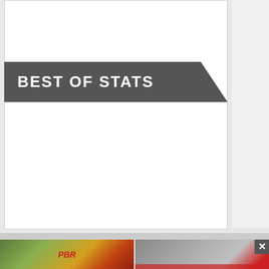BEST OF STATS
Tweets by PBRMinnesota
[Figure (photo): Photo of baseball players/crowd on the left side of the bottom panel with PBR logo overlay]
[Figure (photo): Photo of baseball players/coaches on the right side of the bottom panel with red bar at bottom]